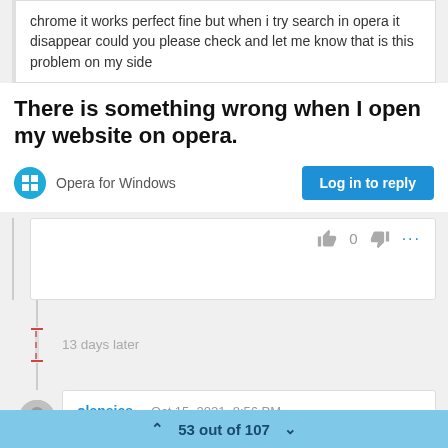chrome it works perfect fine but when i try search in opera it disappear could you please check and let me know that is this problem on my side
There is something wrong when I open my website on opera.
Opera for Windows
Log in to reply
0
13 days later
olansies   Oct 15, 2021, 8:56 PM
53 out of 107